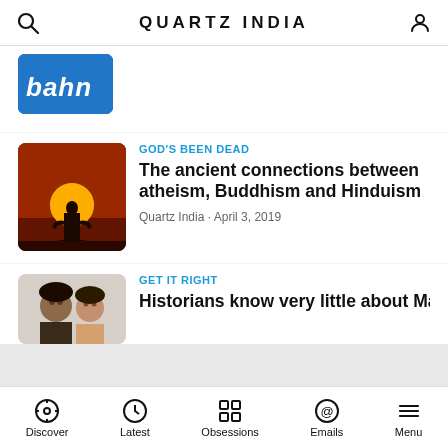QUARTZ INDIA
[Figure (photo): Partial blue sign image cut off at top, showing 'bahn' text]
[Figure (photo): Buddha silhouette against orange sunset sky]
GOD'S BEEN DEAD
The ancient connections between atheism, Buddhism and Hinduism
Quartz India · April 3, 2019
GET IT RIGHT
Historians know very little about Mastani—
[Figure (photo): Two people smiling, partial image]
QUARTZ
Make business better™
Discover | Latest | Obsessions | Emails | Menu